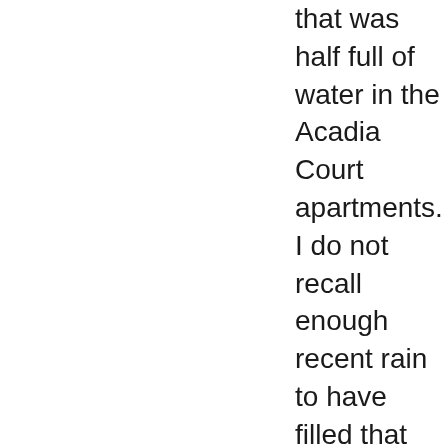that was half full of water in the Acadia Court apartments. I do not recall enough recent rain to have filled that pond but it looked almost recently drained but hard to say. That's the story. I wanted to report because it seemed an odd time and weather for